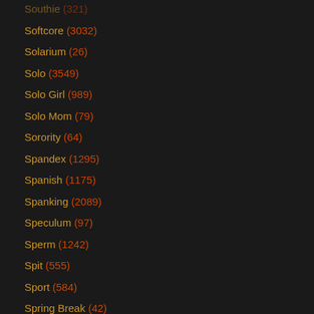Southie (321)
Softcore (3032)
Solarium (26)
Solo (3549)
Solo Girl (989)
Solo Mom (79)
Sorority (64)
Spandex (1295)
Spanish (1175)
Spanking (2089)
Speculum (97)
Sperm (1242)
Spit (555)
Sport (584)
Spring Break (42)
Spy Cam (387)